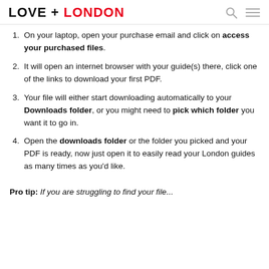LOVE + LONDON
On your laptop, open your purchase email and click on access your purchased files.
It will open an internet browser with your guide(s) there, click one of the links to download your first PDF.
Your file will either start downloading automatically to your Downloads folder, or you might need to pick which folder you want it to go in.
Open the downloads folder or the folder you picked and your PDF is ready, now just open it to easily read your London guides as many times as you'd like.
Pro tip: If you are struggling to find your file...